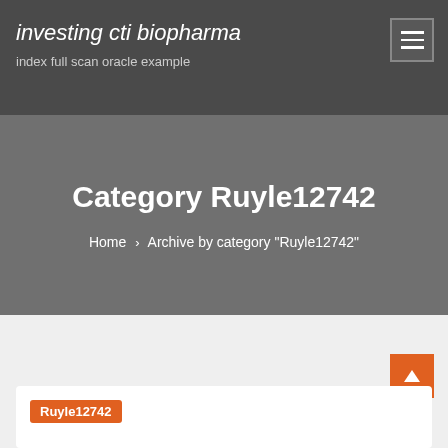investing cti biopharma
index full scan oracle example
Category Ruyle12742
Home › Archive by category "Ruyle12742"
Ruyle12742